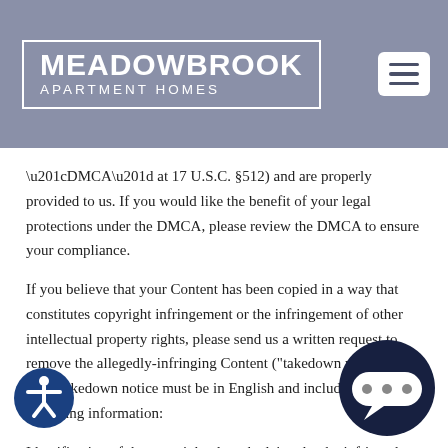MEADOWBROOK APARTMENT HOMES
“DMCA” at 17 U.S.C. §512) and are properly provided to us. If you would like the benefit of your legal protections under the DMCA, please review the DMCA to ensure your compliance.
If you believe that your Content has been copied in a way that constitutes copyright infringement or the infringement of other intellectual property rights, please send us a written request to remove the allegedly-infringing Content (“takedown notice”). Each takedown notice must be in English and include the following information:
Identification of the copyrighted work claimed to be infringed.
Identification of the material that is claimed to be infringing or